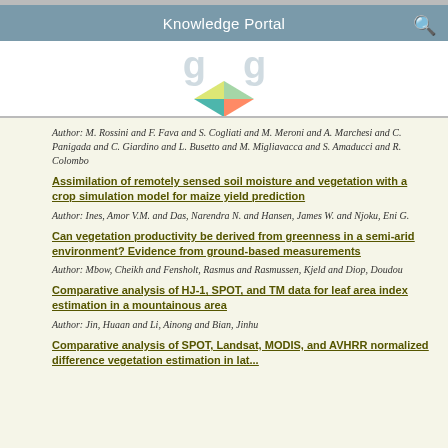Knowledge Portal
[Figure (logo): Colorful geometric diamond/crystal logo made of triangular facets in green, yellow, orange, and teal colors]
Author: M. Rossini and F. Fava and S. Cogliati and M. Meroni and A. Marchesi and C. Panigada and C. Giardino and L. Busetto and M. Migliavacca and S. Amaducci and R. Colombo
Assimilation of remotely sensed soil moisture and vegetation with a crop simulation model for maize yield prediction
Author: Ines, Amor V.M. and Das, Narendra N. and Hansen, James W. and Njoku, Eni G.
Can vegetation productivity be derived from greenness in a semi-arid environment? Evidence from ground-based measurements
Author: Mbow, Cheikh and Fensholt, Rasmus and Rasmussen, Kjeld and Diop, Doudou
Comparative analysis of HJ-1, SPOT, and TM data for leaf area index estimation in a mountainous area
Author: Jin, Huaan and Li, Ainong and Bian, Jinhu
Comparative analysis of SPOT, Landsat, MODIS, and AVHRR...